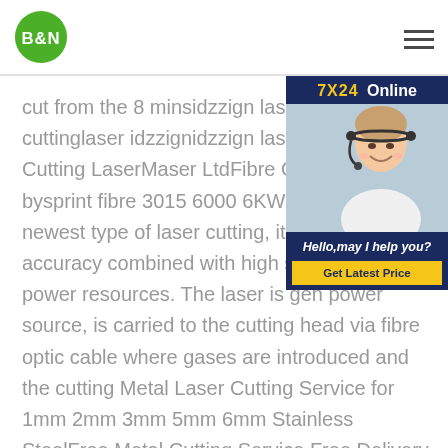B&N [logo] [hamburger menu]
[Figure (infographic): 7X24 Online chat widget with a customer service representative photo, text 'Hello,may I help you?' and a 'Get Latest Price' button]
cut from the 8 minsidzzign laser coidzz cuttinglaser idzzignidzzign laser compa Cutting LaserMaser LtdFibre Optic Las bysprint fibre 3015 6000 6KW. Fibre op newest type of laser cutting, it ensures accuracy combined with high speed cu less power resources. The laser is gen power source, is carried to the cutting head via fibre optic cable where gases are introduced and the cutting Metal Laser Cutting Service for 1mm 2mm 3mm 5mm 6mm Stainless SteelFree Metal Cutting Service Free Delivery on Orders £50+Buy online with Free cutting service or Call 01274 875 479 with your